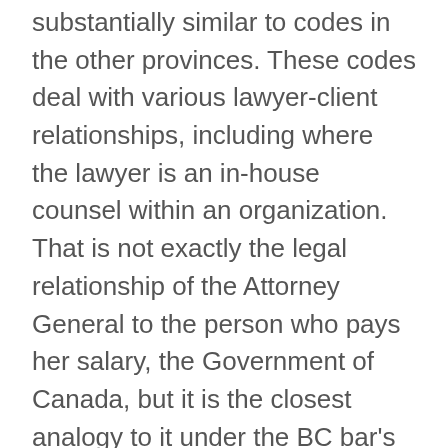substantially similar to codes in the other provinces.  These codes deal with various lawyer-client relationships, including where the lawyer is an in-house counsel within an organization.  That is not exactly the legal relationship of the Attorney General to the person who pays her salary, the Government of Canada, but it is the closest analogy to it under the BC bar's Code.
Of particular relevance is the Code's ethical requirement, in the text and commentary in Article 3.2-8, if the organization employing the lawyer has acted, is acting or intends to act dishonestly.  The lawyer is then supposed